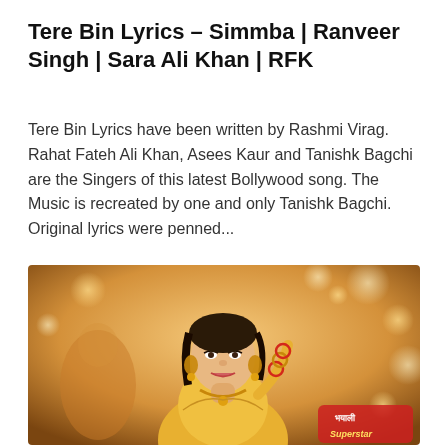Tere Bin Lyrics – Simmba | Ranveer Singh | Sara Ali Khan | RFK
Tere Bin Lyrics have been written by Rashmi Virag. Rahat Fateh Ali Khan, Asees Kaur and Tanishk Bagchi are the Singers of this latest Bollywood song. The Music is recreated by one and only Tanishk Bagchi. Original lyrics were penned...
[Figure (photo): A woman dressed in traditional Indian bridal/festive attire with jewellery, bangles and a maang tikka, posing in a warm golden-lit environment. A logo reading 'Bhayali Superstar' is visible in the bottom right corner.]